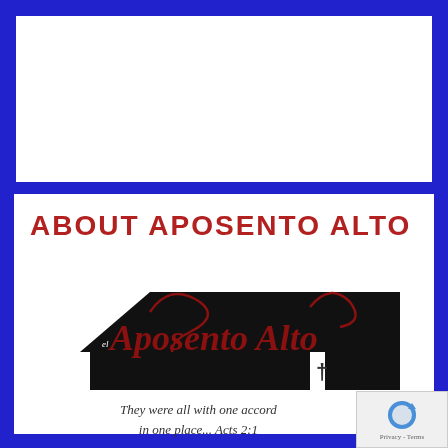[Figure (illustration): White rectangular box at top of page, placeholder/ad area on blue background]
ABOUT APOSENTO ALTO
[Figure (logo): El Aposento Alto church logo: black rooftop silhouette with red stylized text 'el Aposento Alto', decorative red swirls, black bar with cross symbol]
They were all with one accord in one place... Acts 2:1